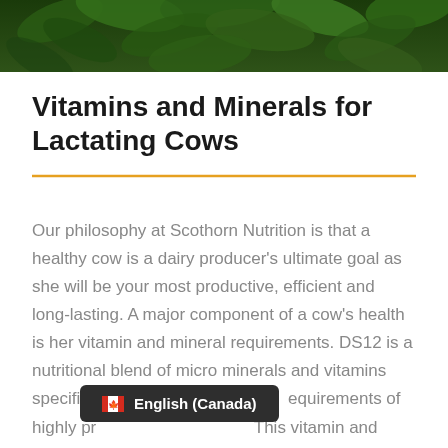[Figure (photo): Green foliage/leaves background image at top of page]
Vitamins and Minerals for Lactating Cows
Our philosophy at Scothorn Nutrition is that a healthy cow is a dairy producer's ultimate goal as she will be your most productive, efficient and long-lasting.  A major component of a cow's health is her vitamin and mineral requirements.  DS12 is a nutritional blend of micro minerals and vitamins specifically ba[lanced to meet the r]equirements of highly pr[oductive dairy cows.]  This vitamin and
[Figure (screenshot): Language selector UI element showing English (Canada) with Canadian flag emoji, dark grey background]